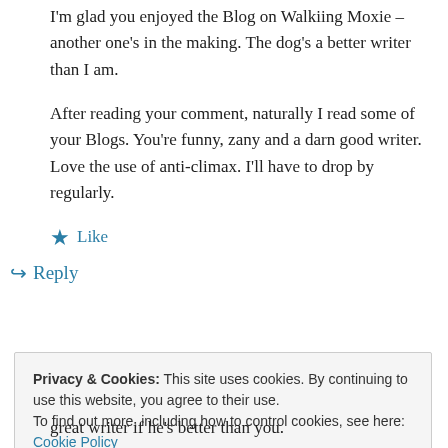I'm glad you enjoyed the Blog on Walkiing Moxie – another one's in the making. The dog's a better writer than I am.
After reading your comment, naturally I read some of your Blogs. You're funny, zany and a darn good writer. Love the use of anti-climax. I'll have to drop by regularly.
★ Like
↪ Reply
Privacy & Cookies: This site uses cookies. By continuing to use this website, you agree to their use. To find out more, including how to control cookies, see here: Cookie Policy
Close and accept
great writer if he's better than you.